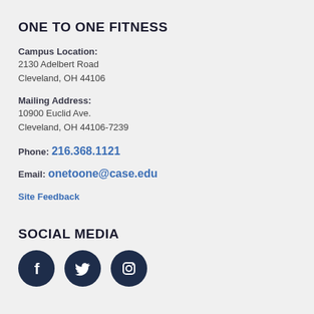ONE TO ONE FITNESS
Campus Location:
2130 Adelbert Road
Cleveland, OH 44106
Mailing Address:
10900 Euclid Ave.
Cleveland, OH 44106-7239
Phone: 216.368.1121
Email: onetoone@case.edu
Site Feedback
SOCIAL MEDIA
[Figure (illustration): Three social media icons in dark navy circles: Facebook (f), Twitter (bird), Instagram (camera outline)]